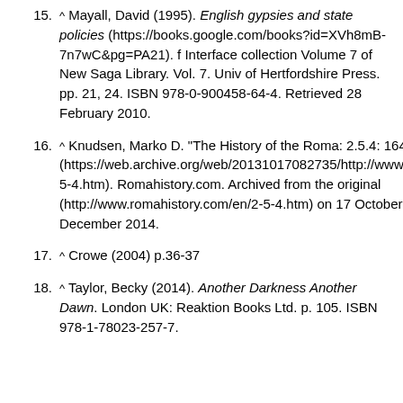15. ^ Mayall, David (1995). English gypsies and state policies (https://books.google.com/books?id=XVh8mB-7n7wC&pg=PA21). f Interface collection Volume 7 of New Saga Library. Vol. 7. Univ of Hertfordshire Press. pp. 21, 24. ISBN 978-0-900458-64-4. Retrieved 28 February 2010.
16. ^ Knudsen, Marko D. "The History of the Roma: 2.5.4: 1647 to 1714" (https://web.archive.org/web/20131017082735/http://www.romahistory.com/en/2-5-4.htm). Romahistory.com. Archived from the original (http://www.romahistory.com/en/2-5-4.htm) on 17 October 2013. Retrieved 24 December 2014.
17. ^ Crowe (2004) p.36-37
18. ^ Taylor, Becky (2014). Another Darkness Another Dawn. London UK: Reaktion Books Ltd. p. 105. ISBN 978-1-78023-257-7.